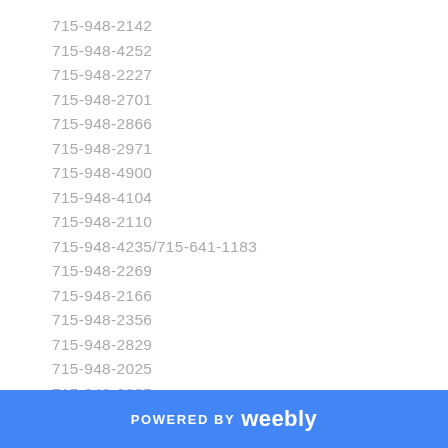715-948-2142
715-948-4252
715-948-2227
715-948-2701
715-948-2866
715-948-2971
715-948-4900
715-948-4104
715-948-2110
715-948-4235/715-641-1183
715-948-2269
715-948-2166
715-948-2356
715-948-2829
715-948-2025
715-948-2935
715-948-4198
POWERED BY weebly